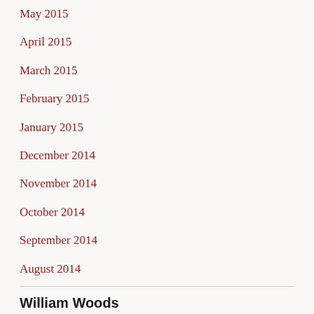May 2015
April 2015
March 2015
February 2015
January 2015
December 2014
November 2014
October 2014
September 2014
August 2014
William Woods
Website